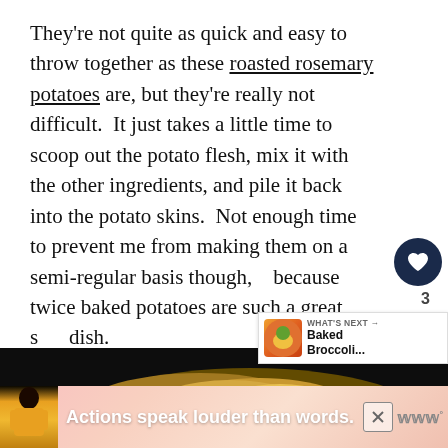They're not quite as quick and easy to throw together as these roasted rosemary potatoes are, but they're really not difficult.  It just takes a little time to scoop out the potato flesh, mix it with the other ingredients, and pile it back into the potato skins.  Not enough time to prevent me from making them on a semi-regular basis though, because twice baked potatoes are such a great side dish.
[Figure (photo): Photo of baked potato dish, partially obscured, with dark background and golden yellow food visible]
[Figure (screenshot): Advertisement banner reading 'Actions speak louder than words.' with a person in yellow and brand logo]